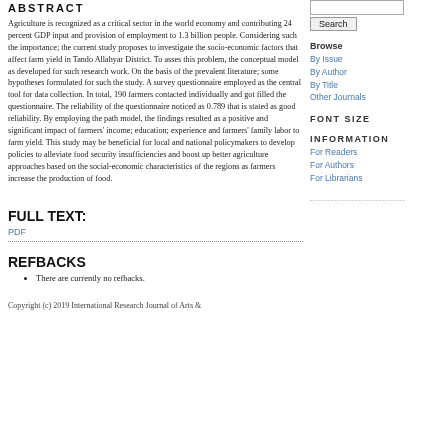ABSTRACT
Agriculture is recognized as a critical sector in the world economy and contributing 24 percent GDP input and provision of employment to 1.3 billion people. Considering such the importance; the current study proposes to investigate the socio-economic factors that affect farm yield in Tando Allahyar District. To asses this problem, the conceptual model as developed for such research work. On the basis of the prevalent literature; some hypotheses formulated for such the study. A survey questionnaire employed as the central tool for data collection. In total, 190 farmers contacted individually and got filled the questionnaire. The reliability of the questionnaire noticed as 0.789 that is stated as good reliability. By employing the path model, the findings resulted as a positive and significant impact of farmers' income; education; experience and farmers' family labor to farm yield. This study may be beneficial for local and national policymakers to develop policies to alleviate food security insufficiencies and boost up better agriculture approaches based on the social-economic characteristics of the regions as farmers increase the production of food.
FULL TEXT:
PDF
REFBACKS
There are currently no refbacks.
Copyright (c) 2019 International Research Journal of Arts &
Browse
By Issue
By Author
By Title
Other Journals
FONT SIZE
INFORMATION
For Readers
For Authors
For Librarians